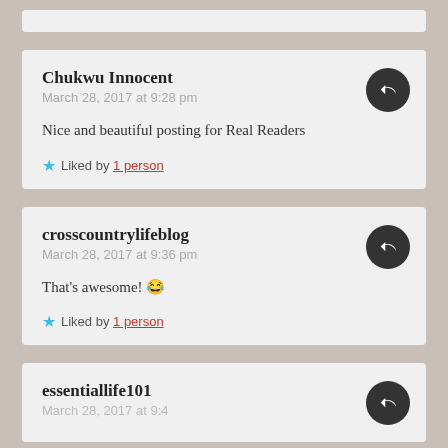Chukwu Innocent
March 28, 2017 at 9:28 pm

Nice and beautiful posting for Real Readers

Liked by 1 person
crosscountrylifeblog
March 28, 2017 at 9:36 pm

That's awesome! 😂

Liked by 1 person
essentiallife101
March 28, 2017 at 9:4...